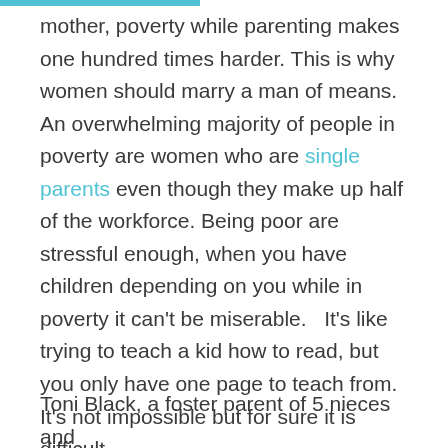mother, poverty while parenting makes one hundred times harder. This is why women should marry a man of means. An overwhelming majority of people in poverty are women who are single parents even though they make up half of the workforce. Being poor are stressful enough, when you have children depending on you while in poverty it can't be miserable.   It's like trying to teach a kid how to read, but you only have one page to teach from.  It's not impossible but for sure it is difficult.
Toni Black, a foster parent of 5 nieces and